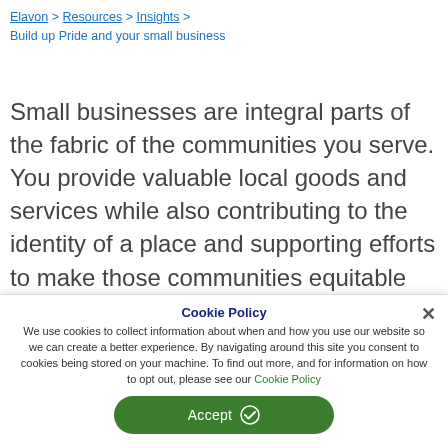Elavon > Resources > Insights > Build up Pride and your small business
Small businesses are integral parts of the fabric of the communities you serve. You provide valuable local goods and services while also contributing to the identity of a place and supporting efforts to make those communities equitable and vibrant. This includes advocating for and celebrating diversity and inclusion in everything you do – from creating an equitable environment for employees to adapting
Cookie Policy
We use cookies to collect information about when and how you use our website so we can create a better experience. By navigating around this site you consent to cookies being stored on your machine. To find out more, and for information on how to opt out, please see our Cookie Policy
Accept